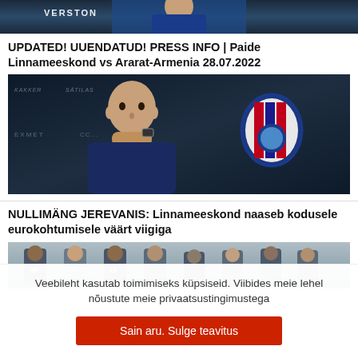[Figure (photo): Top portion of a sports photo showing VERSTON text/sponsor, person in blue jersey]
UPDATED! UUENDATUD! PRESS INFO | Paide Linnameeskond vs Ararat-Armenia 28.07.2022
[Figure (photo): Press conference photo showing a bald man in dark blue jacket with hand on chin, club crest visible in background, sponsor boards with EXMET visible]
NULLIMÄNG JEREVANIS: Linnameeskond naaseb kodusele eurokohtumisele väärt viigiga
[Figure (photo): Team photo showing football players in white/grey training kits with numbers 30, 7, 11 visible]
Veebileht kasutab toimimiseks küpsiseid. Viibides meie lehel nõustute meie privaatsustingimustega
Sain aru. Sulge teavitus